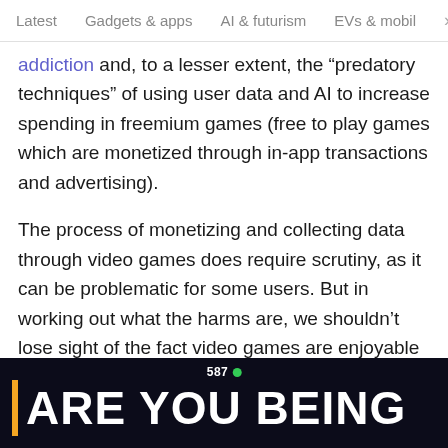Latest   Gadgets & apps   AI & futurism   EVs & mobil  >
addiction and, to a lesser extent, the “predatory techniques” of using user data and AI to increase spending in freemium games (free to play games which are monetized through in-app transactions and advertising).
The process of monetizing and collecting data through video games does require scrutiny, as it can be problematic for some users. But in working out what the harms are, we shouldn’t lose sight of the fact video games are enjoyable and valuable for the vast majority.
[Figure (screenshot): Dark background image showing the number 587 with a green dot, and large bold white text reading 'ARE YOU BEING' with an orange vertical bar on the left side.]